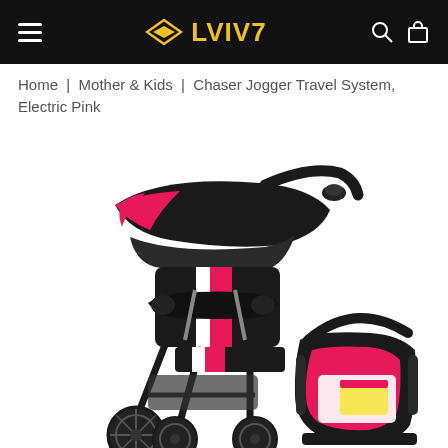LVIV7
Home | Mother & Kids | Chaser Jogger Travel System, Electric Pink
[Figure (photo): Product photo of a Chaser Jogger Travel System in Electric Pink color. Shows a three-wheel jogging stroller with black frame, pink and white accents, a large canopy, child tray, and a separate infant car seat carrier in black and pink on the right side.]